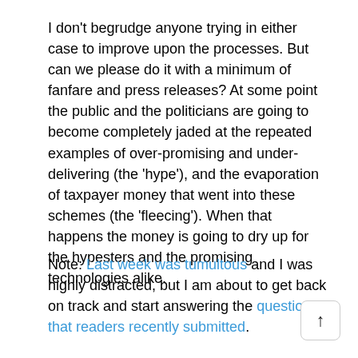I don't begrudge anyone trying in either case to improve upon the processes. But can we please do it with a minimum of fanfare and press releases? At some point the public and the politicians are going to become completely jaded at the repeated examples of over-promising and under-delivering (the 'hype'), and the evaporation of taxpayer money that went into these schemes (the 'fleecing'). When that happens the money is going to dry up for the hypesters and the promising technologies alike.
Note: Last week was tumultous and I was highly distracted, but I am about to get back on track and start answering the questions that readers recently submitted.